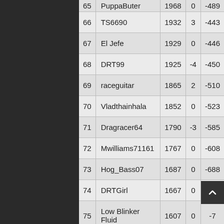| # | Name | Rating | Change | Diff |
| --- | --- | --- | --- | --- |
| 66 | TS6690 | 1932 | 3 | -443 |
| 67 | El Jefe | 1929 | 0 | -446 |
| 68 | DRT99 | 1925 | -4 | -450 |
| 69 | raceguitar | 1865 | 2 | -510 |
| 70 | Vladthainhala | 1852 | 0 | -523 |
| 71 | Dragracer64 | 1790 | -3 | -585 |
| 72 | Mwilliams71161 | 1767 | 0 | -608 |
| 73 | Hog_Bass07 | 1687 | 0 | -688 |
| 74 | DRTGirl | 1667 | 0 | -708 |
| 75 | Low Blinker Fluid | 1607 | 0 | -7… |
| 76 | Rusty Racing | 1565 | 0 | -810 |